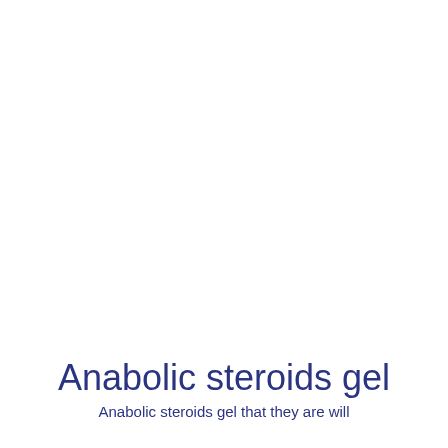Anabolic steroids gel
Anabolic steroids gel that they are will